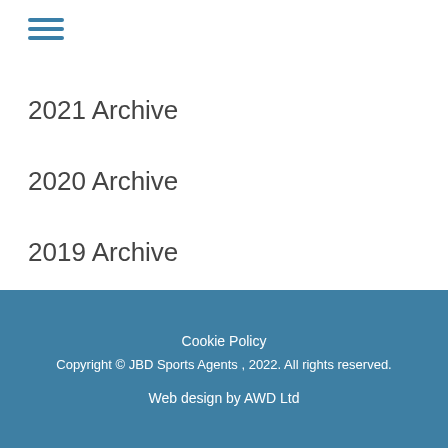[Figure (other): Hamburger menu icon with three horizontal blue lines]
2021 Archive
2020 Archive
2019 Archive
2018 Archive
Cookie Policy
Copyright © JBD Sports Agents , 2022. All rights reserved.
Web design by AWD Ltd